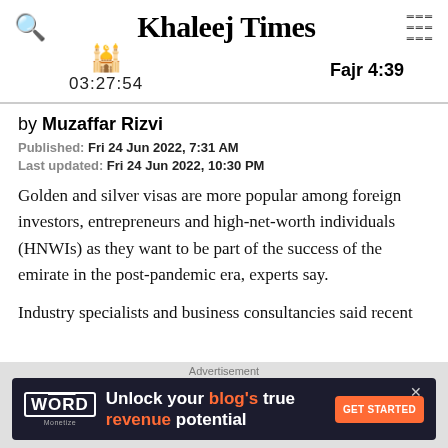Khaleej Times
03:27:54  Fajr 4:39
by Muzaffar Rizvi
Published: Fri 24 Jun 2022, 7:31 AM
Last updated: Fri 24 Jun 2022, 10:30 PM
Golden and silver visas are more popular among foreign investors, entrepreneurs and high-net-worth individuals (HNWIs) as they want to be part of the success of the emirate in the post-pandemic era, experts say.
Industry specialists and business consultancies said recent
Advertisement
Unlock your blog's true revenue potential GET STARTED